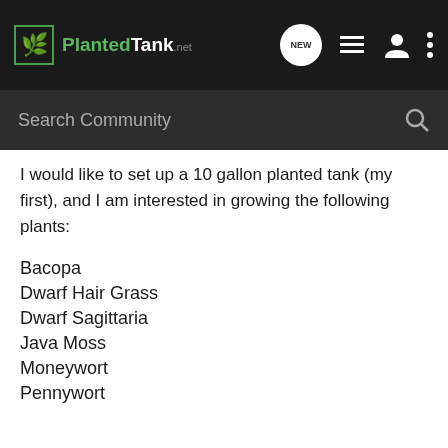PlantedTank
Search Community
I would like to set up a 10 gallon planted tank (my first), and I am interested in growing the following plants:
Bacopa
Dwarf Hair Grass
Dwarf Sagittaria
Java Moss
Moneywort
Pennywort
My current plan is to have either MTS substrate with an inert cap or inert black sand/gravel with root tabs. I might try to do DIY CO2 for this tank as well. I plan to have 2 10W CFL bulbs in the tank's stock hood for lighting.
Maybe the easiest way to go about this would be the best/simplest...